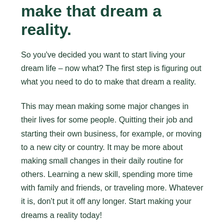make that dream a reality.
So you’ve decided you want to start living your dream life – now what? The first step is figuring out what you need to do to make that dream a reality.
This may mean making some major changes in their lives for some people. Quitting their job and starting their own business, for example, or moving to a new city or country. It may be more about making small changes in their daily routine for others. Learning a new skill, spending more time with family and friends, or traveling more. Whatever it is, don’t put it off any longer. Start making your dreams a reality today!
Start saving now.
One of the biggest barriers to achieving our dreams is a lack of funds. But you don’t have to wait until you’re making a six-figure salary to start saving for your dream life. If you start setting aside